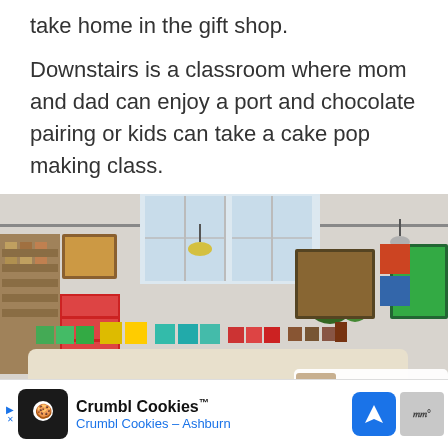take home in the gift shop.
Downstairs is a classroom where mom and dad can enjoy a port and chocolate pairing or kids can take a cake pop making class.
[Figure (photo): Interior of a chocolate shop showing a large display counter with colorful chocolate boxes and products arranged neatly. The space is bright with large windows, pendant lights, plants, and artful displays. Sidebar shows a heart icon, 264 count, share button, and a 'What's Next' panel for 'What Not to Miss in Athe...']
[Figure (screenshot): Advertisement bar for Crumbl Cookies with logo, title 'Crumbl Cookies™', subtitle 'Crumbl Cookies – Ashburn', navigation icon, and map thumbnail]